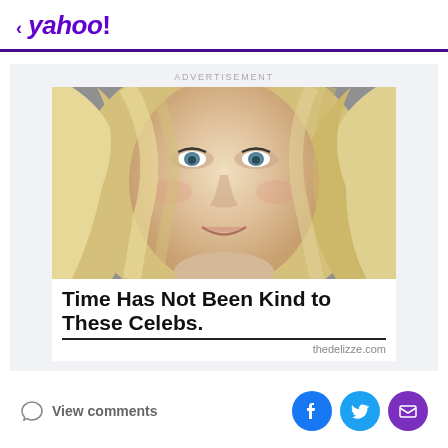< yahoo!
ADVERTISEMENT
[Figure (photo): Close-up photo of a blonde woman smiling, with wavy hair and heavy eye makeup]
Time Has Not Been Kind to These Celebs.
thedelizze.com
View comments
[Figure (infographic): Social share icons: Facebook, Twitter, Email/Mail]